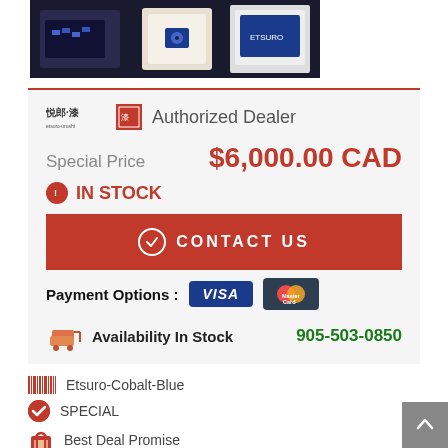[Figure (photo): Product photo showing a blue audio cartridge and white box packaging on dark background]
悦郎・漆 [logo] Authorized Dealer
Special Price  $6,000.00 CAD
ⓘ IN STOCK
CONTACT US
Payment Options :  VISA  MasterCard
Availability In Stock   905-503-0850
Etsuro-Cobalt-Blue
SPECIAL
Best Deal Promise